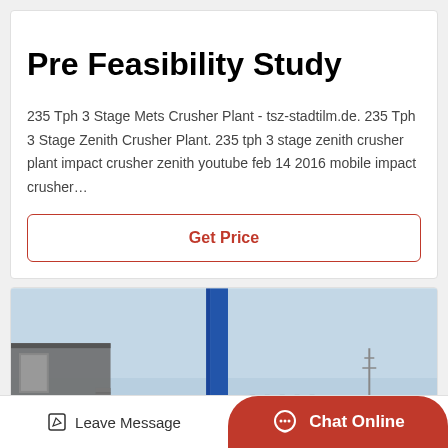Pre Feasibility Study
235 Tph 3 Stage Mets Crusher Plant - tsz-stadtilm.de. 235 Tph 3 Stage Zenith Crusher Plant. 235 tph 3 stage zenith crusher plant impact crusher zenith youtube feb 14 2016 mobile impact crusher…
Get Price
[Figure (photo): Industrial crusher plant machinery showing a large cylindrical drum/kiln with orange piping and a blue vertical support column, outdoor industrial setting with power lines in background.]
Leave Message
Chat Online